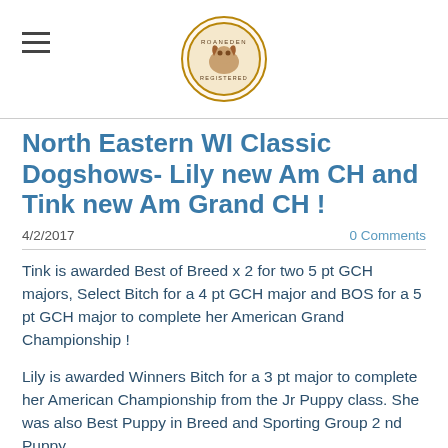Roaneden Registered [logo]
North Eastern WI Classic Dogshows- Lily new Am CH and Tink new Am Grand CH !
4/2/2017   0 Comments
Tink is awarded Best of Breed x 2 for two 5 pt GCH majors, Select Bitch for a 4 pt GCH major and BOS for a 5 pt GCH major to complete her American Grand Championship !
Lily is awarded Winners Bitch for a 3 pt major to complete her American Championship from the Jr Puppy class. She was also Best Puppy in Breed and Sporting Group 2 nd Puppy.
Chumlee is awarded Winners Dog and Best of Opposite Sex over Specials for a 5 pt major. The second day he is awarded Winners Dog and Best of Winners for a 4 pt major.